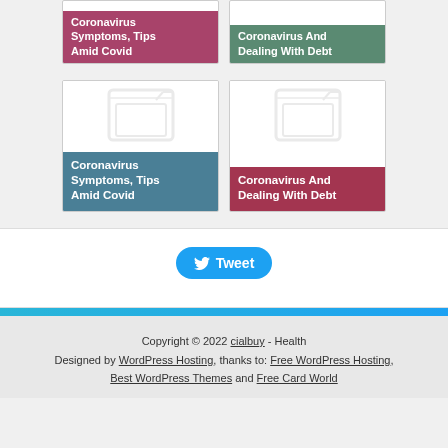[Figure (screenshot): Top row of two article cards: 'Coronavirus Symptoms, Tips Amid Covid' (pink/mauve background) and 'Coronavirus And Dealing With Debt' (green background)]
[Figure (screenshot): Bottom row of two article cards with placeholder images and colored labels: 'Coronavirus Symptoms, Tips Amid Covid' (teal) and 'Coronavirus And Dealing With Debt' (rose/dark red)]
[Figure (screenshot): Tweet button widget area]
Copyright © 2022 cialbuy - Health
Designed by WordPress Hosting, thanks to: Free WordPress Hosting, Best WordPress Themes and Free Card World